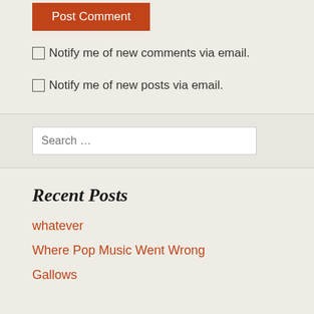Post Comment
Notify me of new comments via email.
Notify me of new posts via email.
Search …
Recent Posts
whatever
Where Pop Music Went Wrong
Gallows